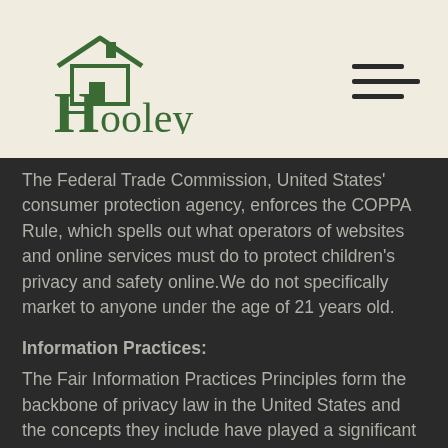[Figure (logo): The Hooley logo with a house icon above the letter H and the text 'the Hooley' in green on a beige/cream background]
The Federal Trade Commission, United States' consumer protection agency, enforces the COPPA Rule, which spells out what operators of websites and online services must do to protect children's privacy and safety online.We do not specifically market to anyone under the age of 21 years old.
Information Practices:
The Fair Information Practices Principles form the backbone of privacy law in the United States and the concepts they include have played a significant role in the development of data protection laws around the globe. Understanding the Fair Information Practice Principles and how they should be implemented is critical to comply with the